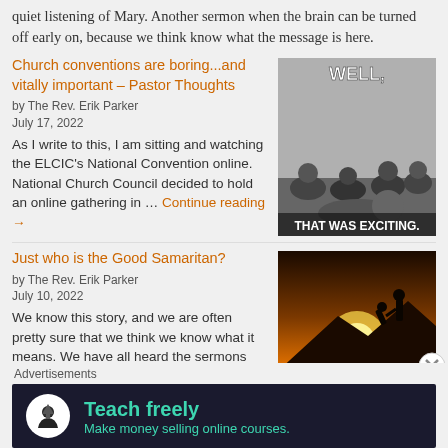quiet listening of Mary. Another sermon when the brain can be turned off early on, because we think know what the message is here.
Church conventions are boring...and vitally important – Pastor Thoughts
by The Rev. Erik Parker
July 17, 2022
[Figure (photo): Meme showing people sleeping/bored at a conference with text WELL, THAT WAS EXCITING.]
As I write to this, I am sitting and watching the ELCIC's National Convention online. National Church Council decided to hold an online gathering in … Continue reading →
Just who is the Good Samaritan?
by The Rev. Erik Parker
July 10, 2022
[Figure (photo): Silhouette of person helping another person climb a mountain at sunset.]
We know this story, and we are often pretty sure that we think we know what it means. We have all heard the sermons that come along with this story. Condemnation for the priest and the levite who walk on by. Praise for the Good Samaritan who stops to
Advertisements
[Figure (infographic): Advertisement banner: Teach freely - Make money selling online courses.]